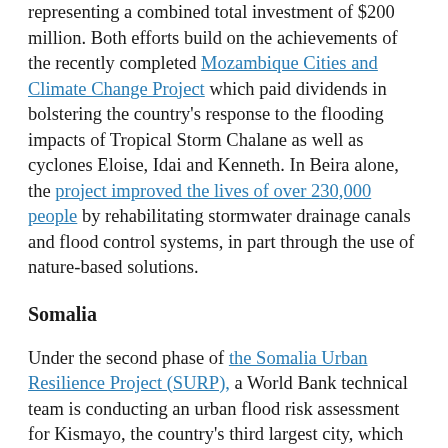representing a combined total investment of $200 million. Both efforts build on the achievements of the recently completed Mozambique Cities and Climate Change Project which paid dividends in bolstering the country's response to the flooding impacts of Tropical Storm Chalane as well as cyclones Eloise, Idai and Kenneth. In Beira alone, the project improved the lives of over 230,000 people by rehabilitating stormwater drainage canals and flood control systems, in part through the use of nature-based solutions.
Somalia
Under the second phase of the Somalia Urban Resilience Project (SURP), a World Bank technical team is conducting an urban flood risk assessment for Kismayo, the country's third largest city, which will inform the preparation of a city-level storm water drainage plan and enhance flood-resilient urban development. The second phase of SURP will also enable a scale-up in resilient